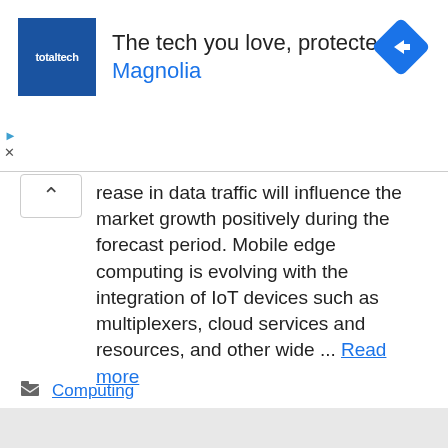[Figure (infographic): Advertisement banner for Best Buy Total Tech with logo, headline 'The tech you love, protected', subheadline 'Magnolia', and a blue navigation arrow icon on the right.]
rease in data traffic will influence the market growth positively during the forecast period. Mobile edge computing is evolving with the integration of IoT devices such as multiplexers, cloud services and resources, and other wide ... Read more
Computing
Technavio
Leave a comment